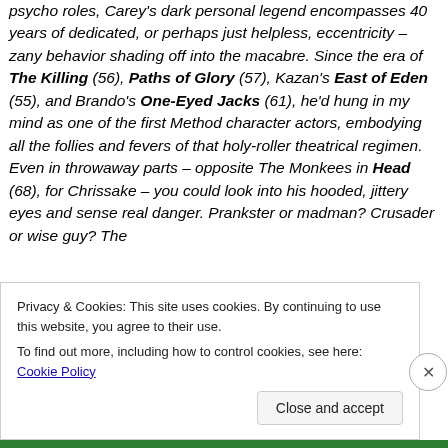psycho roles, Carey's dark personal legend encompasses 40 years of dedicated, or perhaps just helpless, eccentricity – zany behavior shading off into the macabre. Since the era of The Killing (56), Paths of Glory (57), Kazan's East of Eden (55), and Brando's One-Eyed Jacks (61), he'd hung in my mind as one of the first Method character actors, embodying all the follies and fevers of that holy-roller theatrical regimen. Even in throwaway parts – opposite The Monkees in Head (68), for Chrissake – you could look into his hooded, jittery eyes and sense real danger. Prankster or madman? Crusader or wise guy? The
Privacy & Cookies: This site uses cookies. By continuing to use this website, you agree to their use.
To find out more, including how to control cookies, see here: Cookie Policy